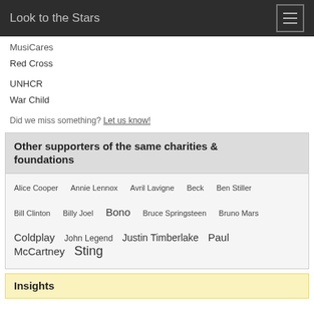Look to the Stars
MusiCares
Red Cross
UNHCR
War Child
Did we miss something? Let us know!
Other supporters of the same charities & foundations
Alice Cooper   Annie Lennox   Avril Lavigne   Beck   Ben Stiller   Bill Clinton   Billy Joel   Bono   Bruce Springsteen   Bruno Mars   Coldplay   John Legend   Justin Timberlake   Paul McCartney   Sting
Insights